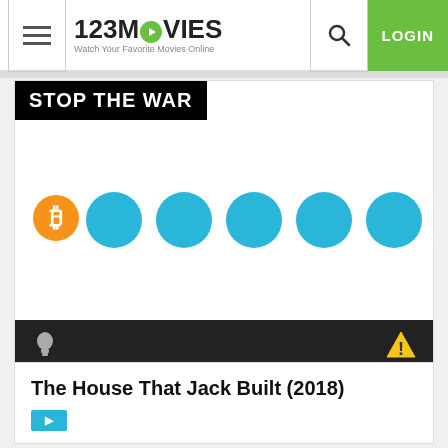123MOVIES — Watch Your Favorite Movies Online | LOGIN
STOP THE WAR
[Figure (screenshot): Video player loading area with Bitcoin icon (orange circle with B) on left and five blue loading circles in the center]
[Figure (screenshot): Player toolbar with light bulb icon on left and warning triangle icon on right, dark background]
Server 1    ▶ HD
The House That Jack Built (2018)